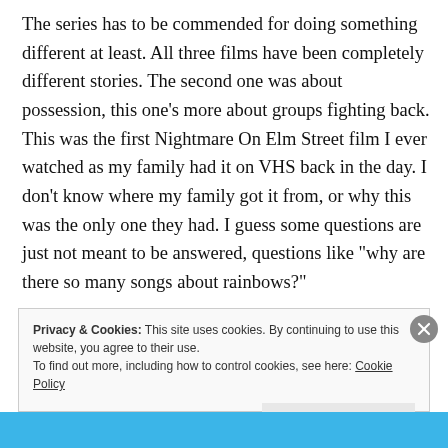The series has to be commended for doing something different at least. All three films have been completely different stories. The second one was about possession, this one’s more about groups fighting back. This was the first Nightmare On Elm Street film I ever watched as my family had it on VHS back in the day. I don’t know where my family got it from, or why this was the only one they had. I guess some questions are just not meant to be answered, questions like “why are there so many songs about rainbows?”
Privacy & Cookies: This site uses cookies. By continuing to use this website, you agree to their use.
To find out more, including how to control cookies, see here: Cookie Policy